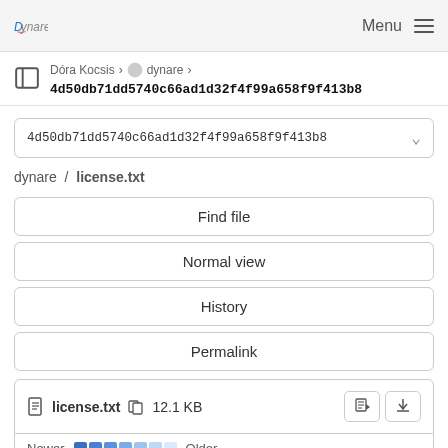Dynare | Menu
Dóra Kocsis > dynare > 4d50db71dd5740c66ad1d32f4f99a658f9f413b8
4d50db71dd5740c66ad1d32f4f99a658f9f413b8
dynare / license.txt
Find file
Normal view
History
Permalink
license.txt   12.1 KB
Newer   Older